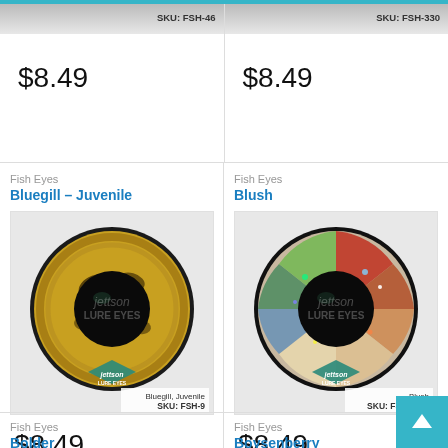SKU: FSH-46
SKU: FSH-330
$8.49
$8.49
Fish Eyes
Bluegill – Juvenile
Fish Eyes
Blush
[Figure (photo): Jettson Lure Eyes fish eye product photo – Bluegill, Juvenile (SKU: FSH-9). Close-up of a circular lure eye with dark pupil, yellow-brown iris pattern with black markings.]
[Figure (photo): Jettson Lure Eyes fish eye product photo – Blush (SKU: FSH-459a). Close-up of a circular lure eye with dark pupil, colorful multicolor iris with red, green, blue, and iridescent tones.]
$8.49
$8.49
Fish Eyes
Bolder
Fish Eyes
Boysenberry